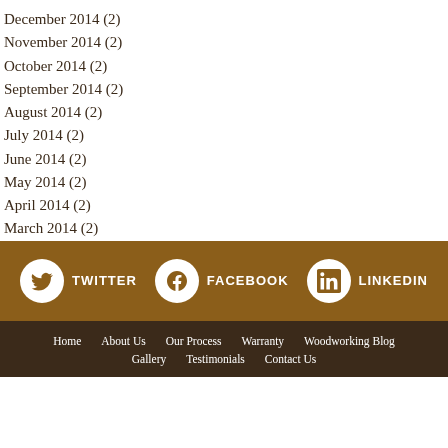December 2014 (2)
November 2014 (2)
October 2014 (2)
September 2014 (2)
August 2014 (2)
July 2014 (2)
June 2014 (2)
May 2014 (2)
April 2014 (2)
March 2014 (2)
[Figure (infographic): Social media links bar with Twitter, Facebook, and LinkedIn icons in white circles on a brown background]
Home   About Us   Our Process   Warranty   Woodworking Blog   Gallery   Testimonials   Contact Us